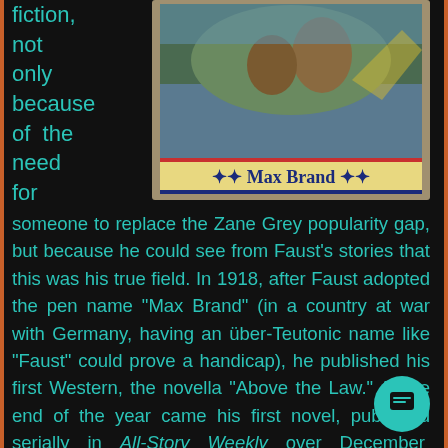fiction, not only because of the need for
[Figure (photo): Book cover showing a Western action scene with the author name Max Brand at the bottom]
someone to replace the Zane Grey popularity gap, but because he could see from Faust's stories that this was his true field. In 1918, after Faust adopted the pen name “Max Brand” (in a country at war with Germany, having an über-Teutonic name like “Faust” could prove a handicap), he published his first Western, the novella “Above the Law.” At the end of the year came his first novel, published serially in All-Story Weekly over December and January of 1918 and 1919. It was titled The